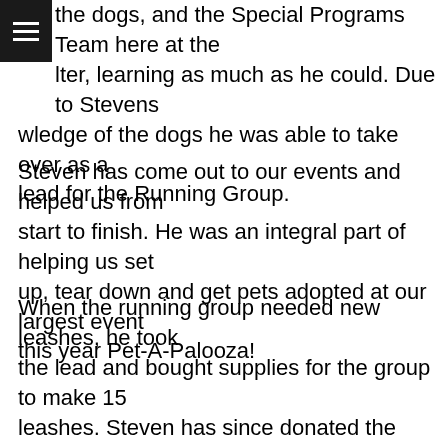the dogs, and the Special Programs Team here at the shelter, learning as much as he could. Due to Stevens knowledge of the dogs he was able to take over as a lead for the Running Group.
Steven has come out to our events and helped us from start to finish. He was an integral part of helping us set up, tear down and get pets adopted at our largest event this year Pet-A-Palooza!
When the running group needed new leashes, he took the lead and bought supplies for the group to make 15 leashes. Steven has since donated the items needed for us to make leashes and even came in and showed us how to make them. This will give us the ability to create projects for other volunteers and help those that may not be able to afford a leash for their dog.
Although Steven has only been volunteering with SLCoAS for a short amount of time he has made a huge